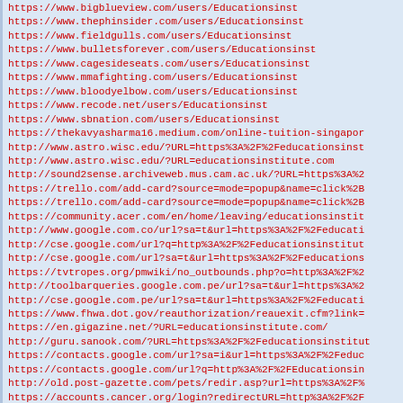https://www.bigblueview.com/users/Educationsinst
https://www.thephinsider.com/users/Educationsinst
https://www.fieldgulls.com/users/Educationsinst
https://www.bulletsforever.com/users/Educationsinst
https://www.cagesideseats.com/users/Educationsinst
https://www.mmafighting.com/users/Educationsinst
https://www.bloodyelbow.com/users/Educationsinst
https://www.recode.net/users/Educationsinst
https://www.sbnation.com/users/Educationsinst
https://thekavyasharma16.medium.com/online-tuition-singapor
http://www.astro.wisc.edu/?URL=https%3A%2F%2Feducationsinst
http://www.astro.wisc.edu/?URL=educationsinstitute.com
http://sound2sense.archiveweb.mus.cam.ac.uk/?URL=https%3A%2
https://trello.com/add-card?source=mode=popup&name=click%2B
https://trello.com/add-card?source=mode=popup&name=click%2B
https://community.acer.com/en/home/leaving/educationsinstit
http://www.google.com.co/url?sa=t&url=https%3A%2F%2Feducati
http://cse.google.com/url?q=http%3A%2F%2Feducationsinstitut
http://cse.google.com/url?sa=t&url=https%3A%2F%2Feducations
https://tvtropes.org/pmwiki/no_outbounds.php?o=http%3A%2F%2
http://toolbarqueries.google.com.pe/url?sa=t&url=https%3A%2
http://cse.google.com.pe/url?sa=t&url=https%3A%2F%2Feducati
https://www.fhwa.dot.gov/reauthorization/reauexit.cfm?link=
https://en.gigazine.net/?URL=educationsinstitute.com/
http://guru.sanook.com/?URL=https%3A%2F%2Feducationsinstitut
https://contacts.google.com/url?sa=i&url=https%3A%2F%2Feduc
https://contacts.google.com/url?q=http%3A%2F%2FEducationsin
http://old.post-gazette.com/pets/redir.asp?url=https%3A%2F%
https://accounts.cancer.org/login?redirectURL=http%3A%2F%2F